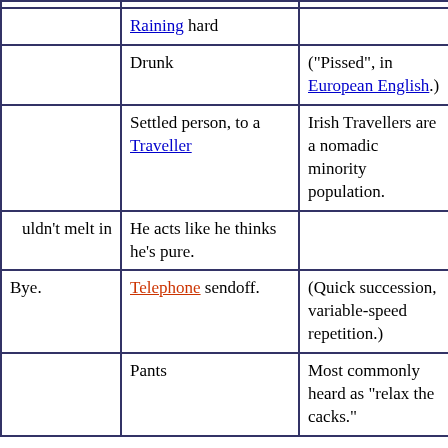|  | Raining hard |  |
|  | Drunk | ("Pissed", in European English.) |
|  | Settled person, to a Traveller | Irish Travellers are a nomadic minority population. |
| uldn't melt in | He acts like he thinks he's pure. |  |
| Bye. | Telephone sendoff. | (Quick succession, variable-speed repetition.) |
|  | Pants | Most commonly heard as "relax the cacks." |